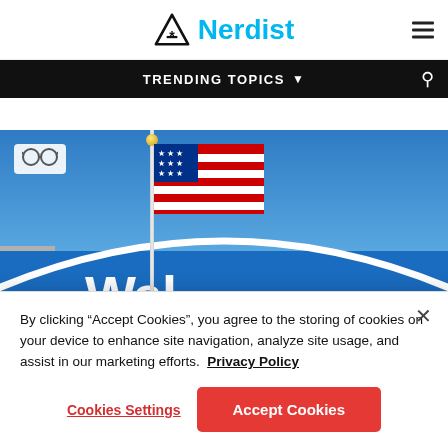Nerdist
TRENDING TOPICS
[Figure (photo): Walmart store exterior showing American flag on a flagpole against a blue sky, with the blue Walmart sign partially visible]
By clicking “Accept Cookies”, you agree to the storing of cookies on your device to enhance site navigation, analyze site usage, and assist in our marketing efforts.  Privacy Policy
Cookies Settings
Accept Cookies